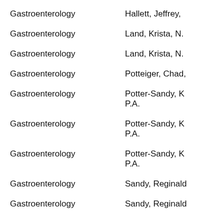Gastroenterology
Hallett, Jeffrey,
Gastroenterology
Land, Krista, N.
Gastroenterology
Land, Krista, N.
Gastroenterology
Potteiger, Chad,
Gastroenterology
Potter-Sandy, K. P.A.
Gastroenterology
Potter-Sandy, K. P.A.
Gastroenterology
Potter-Sandy, K. P.A.
Gastroenterology
Sandy, Reginald
Gastroenterology
Sandy, Reginald